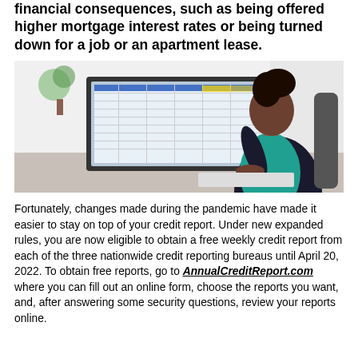financial consequences, such as being offered higher mortgage interest rates or being turned down for a job or an apartment lease.
[Figure (photo): A woman sitting at a desk looking at a computer monitor displaying a spreadsheet or financial report.]
Fortunately, changes made during the pandemic have made it easier to stay on top of your credit report. Under new expanded rules, you are now eligible to obtain a free weekly credit report from each of the three nationwide credit reporting bureaus until April 20, 2022. To obtain free reports, go to AnnualCreditReport.com where you can fill out an online form, choose the reports you want, and, after answering some security questions, review your reports online.